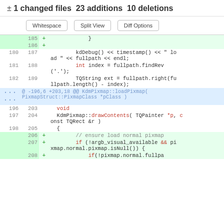± 1 changed files  23 additions  10 deletions
[Figure (screenshot): A code diff view showing file changes with line numbers, additions in green background, a hunk header in blue, and code in monospace font including kdDebug, TQString, KdmPixmap, and TQPainter functions.]